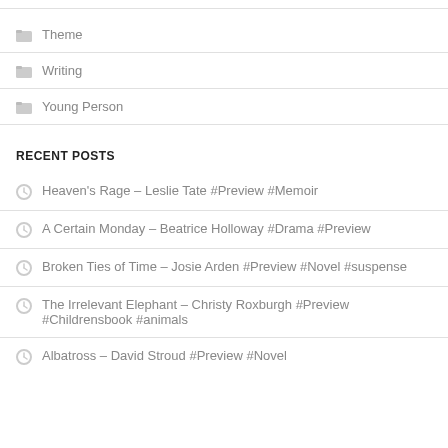Theme
Writing
Young Person
RECENT POSTS
Heaven's Rage – Leslie Tate #Preview #Memoir
A Certain Monday – Beatrice Holloway #Drama #Preview
Broken Ties of Time – Josie Arden #Preview #Novel #suspense
The Irrelevant Elephant – Christy Roxburgh #Preview #Childrensbook #animals
Albatross – David Stroud #Preview #Novel